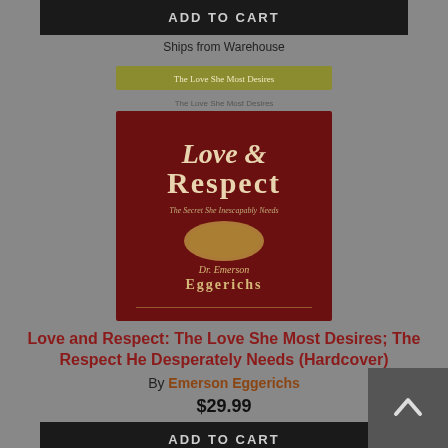[Figure (screenshot): ADD TO CART button (top), dark background with light text]
Ships from Warehouse
[Figure (photo): Book cover: Love & Respect by Dr. Emerson Eggerichs, dark red cover with oval emblem]
Love and Respect: The Love She Most Desires; The Respect He Desperately Needs (Hardcover)
By Emerson Eggerichs
$29.99
[Figure (screenshot): ADD TO CART button (bottom), dark background with light text]
Ships from Warehouse
[Figure (photo): Second book cover partially visible: From Widow to New Bride in Under a Year - The Redemptive Power of GOD'S...]